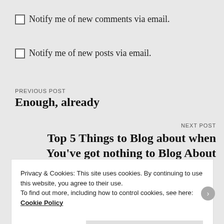☐ Notify me of new comments via email.
☐ Notify me of new posts via email.
PREVIOUS POST
Enough, already
NEXT POST
Top 5 Things to Blog about when You've got nothing to Blog About
Privacy & Cookies: This site uses cookies. By continuing to use this website, you agree to their use.
To find out more, including how to control cookies, see here: Cookie Policy
Close and accept